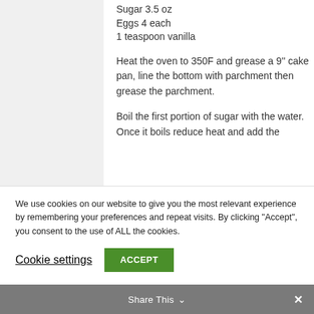Sugar 3.5 oz
Eggs 4 each
1 teaspoon vanilla
Heat the oven to 350F and grease a 9" cake pan, line the bottom with parchment then grease the parchment.
Boil the first portion of sugar with the water.  Once it boils reduce heat and add the
We use cookies on our website to give you the most relevant experience by remembering your preferences and repeat visits. By clicking "Accept", you consent to the use of ALL the cookies.
Cookie settings
ACCEPT
Share This ∨  ✕